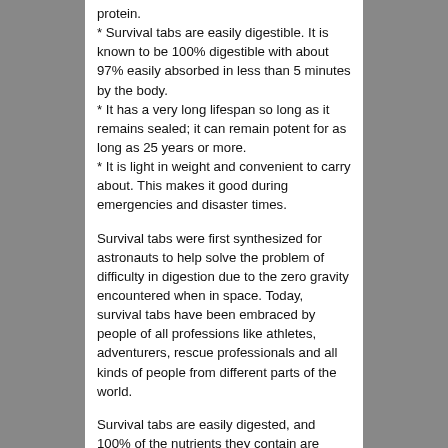protein.
* Survival tabs are easily digestible. It is known to be 100% digestible with about 97% easily absorbed in less than 5 minutes by the body.
* It has a very long lifespan so long as it remains sealed; it can remain potent for as long as 25 years or more.
* It is light in weight and convenient to carry about. This makes it good during emergencies and disaster times.
Survival tabs were first synthesized for astronauts to help solve the problem of difficulty in digestion due to the zero gravity encountered when in space. Today, survival tabs have been embraced by people of all professions like athletes, adventurers, rescue professionals and all kinds of people from different parts of the world.
Survival tabs are easily digested, and 100% of the nutrients they contain are absorbed into the body. This Survival Tabs 10-Days Survival Food Supply Butterscotch-Gluten Free And Non-Gmo is absorbed within five minutes of consumption and the proteins made available for the replacement and repair of sick essential